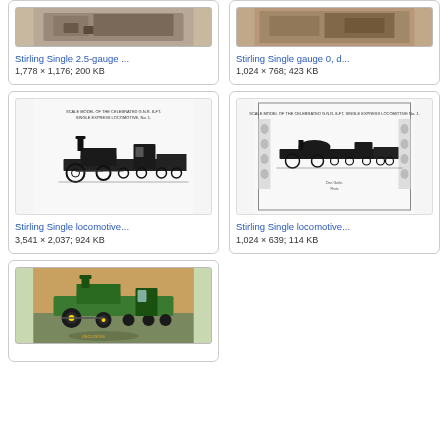[Figure (photo): Partial view of Stirling Single 2.5-gauge model locomotive photo]
Stirling Single 2.5-gauge ...
1,778 × 1,176; 200 KB
[Figure (photo): Partial view of Stirling Single gauge 0 photo]
Stirling Single gauge 0, d...
1,024 × 768; 423 KB
[Figure (illustration): Scale model illustration of Stirling Single locomotive, black and white engraving showing locomotive and tender from side]
Stirling Single locomotive...
3,541 × 2,037; 924 KB
[Figure (illustration): Scale model illustration of Stirling Single locomotive with surrounding decorative border, black and white]
Stirling Single locomotive...
1,024 × 639; 114 KB
[Figure (photo): Partial view of green Stirling Single locomotive model, museum exhibit photo]